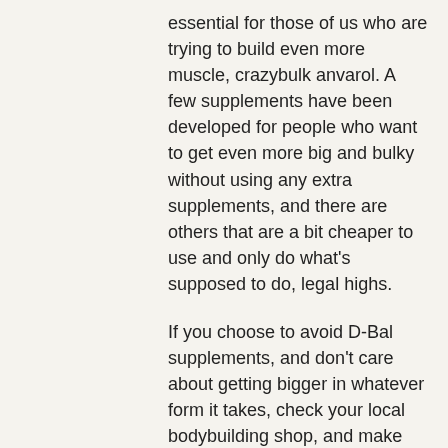essential for those of us who are trying to build even more muscle, crazybulk anvarol. A few supplements have been developed for people who want to get even more big and bulky without using any extra supplements, and there are others that are a bit cheaper to use and only do what's supposed to do, legal highs.
If you choose to avoid D-Bal supplements, and don't care about getting bigger in whatever form it takes, check your local bodybuilding shop, and make sure they use all the ingredients available.
2, crazybulk anvarol.) What Is D-Bal?
D-Bal is a well-known nutritional supplement by Dymag Labs that was actually created to help people lose weight, as well as gain muscle.